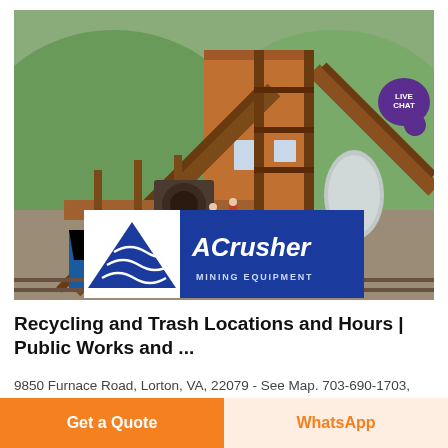[Figure (photo): Industrial mining/crushing equipment facility with large conveyor belts, steel structure, machinery, and workers visible. Hilly green background. ACrusher Mining Equipment logo overlaid at bottom center of image. Live Chat bubble badge at upper right.]
Recycling and Trash Locations and Hours | Public Works and ...
9850 Furnace Road, Lorton, VA, 22079 - See Map. 703-690-1703, TTY 711. Facility Layout Map. Residential Customer
Get a Quote
WhatsApp